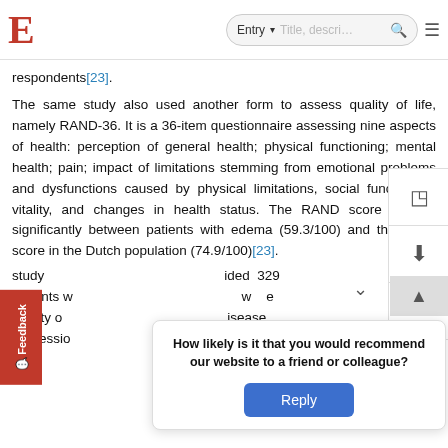E [logo] | Entry ▾ | Title, descri… 🔍 ≡
respondents[23].
The same study also used another form to assess quality of life, namely RAND-36. It is a 36-item questionnaire assessing nine aspects of health: perception of general health; physical functioning; mental health; pain; impact of limitations stemming from emotional problems and dysfunctions caused by physical limitations, social functioning, vitality, and changes in health status. The RAND score differed significantly between patients with edema (59.3/100) and the mean score in the Dutch population (74.9/100)[23].
study included 329 patients with … were quality of … disease, depression … relationship
How likely is it that you would recommend our website to a friend or colleague?
Reply